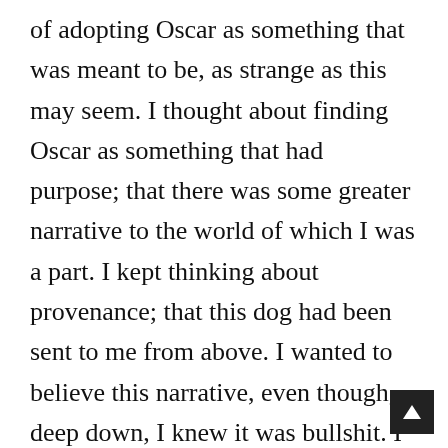of adopting Oscar as something that was meant to be, as strange as this may seem. I thought about finding Oscar as something that had purpose; that there was some greater narrative to the world of which I was a part. I kept thinking about provenance; that this dog had been sent to me from above. I wanted to believe this narrative, even though, deep down, I knew it was bullshit. I was struggling with the trauma associated with shock; a trauma that Julie gives such force to in the blank, often, sanguine, distillation of her being in Blue.  Julie is trying to recover from the sudden death of her husband and daughter, trying to process what seems to lie so far outs